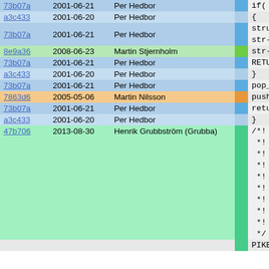| Hash | Date | Author | Bar | Code |
| --- | --- | --- | --- | --- |
| 73b07a | 2001-06-21 | Per Hedbor |  | if( str... |
| a3c433 | 2001-06-20 | Per Hedbor |  | { |
| 73b07a | 2001-06-21 | Per Hedbor |  | struct
  str->s |
| 8e9a36 | 2008-06-23 | Martin Stjernholm |  | str->s |
| 73b07a | 2001-06-21 | Per Hedbor |  | RETURN |
| a3c433 | 2001-06-20 | Per Hedbor |  | } |
| 73b07a | 2001-06-21 | Per Hedbor |  | pop_n_e |
| 7863d6 | 2005-05-06 | Martin Nilsson |  | push_emp |
| 73b07a | 2001-06-21 | Per Hedbor |  | return; |
| a3c433 | 2001-06-20 | Per Hedbor |  | } |
| 47b706 | 2013-08-30 | Henrik Grubbström (Grubba) |  | /*! @decl
 *!
 *!    Empt
 *!
 *! @note
 *!    This
 *!
 *! @seea
 *!    @[ge
 */
PIKEFUN vo |